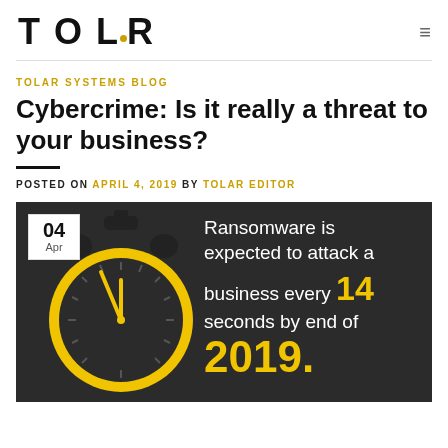TOLAR
TOLAR SYSTEMS BLOG
Cybercrime: Is it really a threat to your business?
POSTED ON APRIL 4, 2019 BY TOLAR EDITOR
[Figure (infographic): Dark background infographic with a yellow stopwatch/clock illustration on the left and text on the right reading: 'Ransomware is expected to attack a business every 14 seconds by end of 2019.' with a date badge showing '04 Apr' in the top-left corner.]